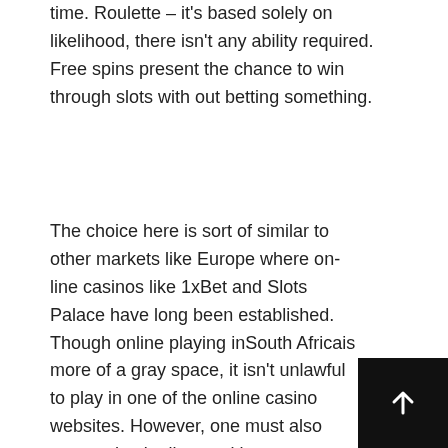time. Roulette – it's based solely on likelihood, there isn't any ability required. Free spins present the chance to win through slots with out betting something.
The choice here is sort of similar to other markets like Europe where on-line casinos like 1xBet and Slots Palace have long been established. Though online playing inSouth Africais more of a gray space, it isn't unlawful to play in one of the online casino websites. However, one must also ensure they're licensed by establishments like the Malta Gaming Authority or the Gibraltar Gambling Commission. It is among the authentic on line casino video games developers and remains be a front-runner within the on-line casino